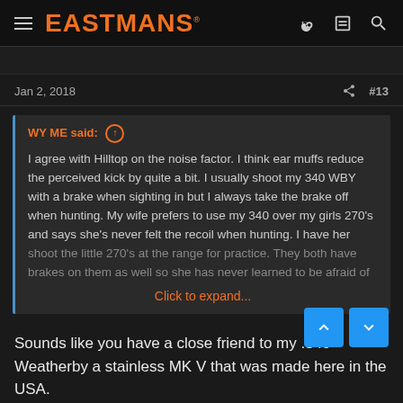EASTMANS
Jan 2, 2018   #13
WY ME said: ↑

I agree with Hilltop on the noise factor. I think ear muffs reduce the perceived kick by quite a bit. I usually shoot my 340 WBY with a brake when sighting in but I always take the brake off when hunting. My wife prefers to use my 340 over my girls 270's and says she's never felt the recoil when hunting. I have her shoot the little 270's at the range for practice. They both have brakes on them as well so she has never learned to be afraid of
Click to expand...
Sounds like you have a close friend to my .340 Weatherby a stainless MK V that was made here in the USA.
I have found that if you are going to shoot it you can't shoot